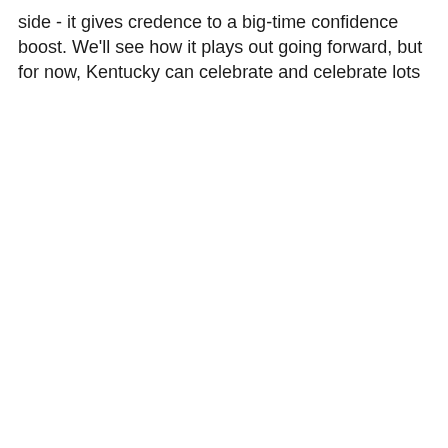side - it gives credence to a big-time confidence boost. We'll see how it plays out going forward, but for now, Kentucky can celebrate and celebrate lots